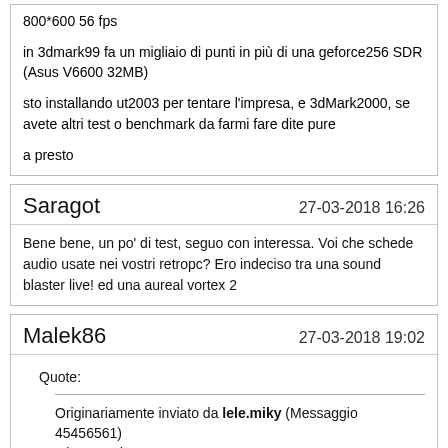800*600 56 fps
in 3dmark99 fa un migliaio di punti in più di una geforce256 SDR (Asus V6600 32MB)
sto installando ut2003 per tentare l'impresa, e 3dMark2000, se avete altri test o benchmark da farmi fare dite pure
a presto
Saragot
27-03-2018 16:26
Bene bene, un po' di test, seguo con interessa. Voi che schede audio usate nei vostri retropc? Ero indeciso tra una sound blaster live! ed una aureal vortex 2
Malek86
27-03-2018 19:02
Quote:
Originariamente inviato da lele.miky (Messaggio 45456561)
Ciao a tutti,
in questi giorni sto testando una ATI Rage Fury MAXX su questa piattaforma